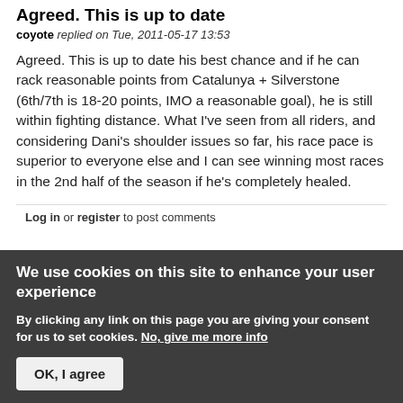Agreed. This is up to date
coyote replied on Tue, 2011-05-17 13:53
Agreed. This is up to date his best chance and if he can rack reasonable points from Catalunya + Silverstone (6th/7th is 18-20 points, IMO a reasonable goal), he is still within fighting distance. What I've seen from all riders, and considering Dani's shoulder issues so far, his race pace is superior to everyone else and I can see winning most races in the 2nd half of the season if he's completely healed.
Log in or register to post comments
We use cookies on this site to enhance your user experience
By clicking any link on this page you are giving your consent for us to set cookies. No, give me more info
OK, I agree